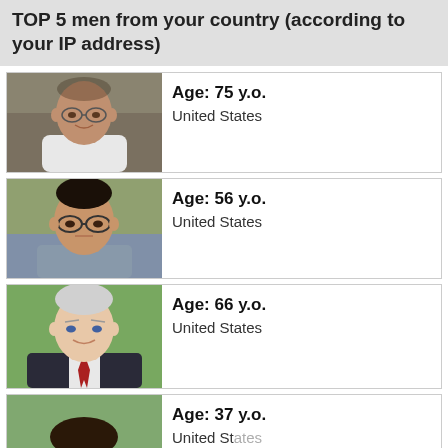TOP 5 men from your country (according to your IP address)
Age: 75 y.o.
United States
Age: 56 y.o.
United States
Age: 66 y.o.
United States
Age: 37 y.o.
United States